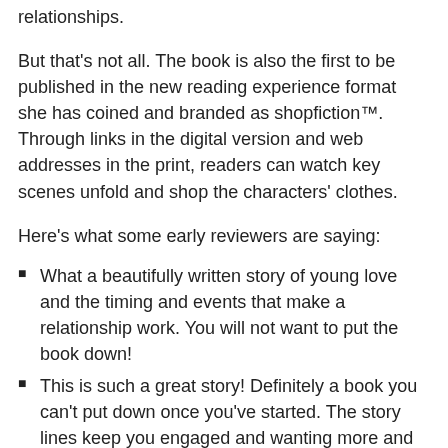relationships.
But that’s not all. The book is also the first to be published in the new reading experience format she has coined and branded as shopfiction™. Through links in the digital version and web addresses in the print, readers can watch key scenes unfold and shop the characters’ clothes.
Here’s what some early reviewers are saying:
What a beautifully written story of young love and the timing and events that make a relationship work. You will not want to put the book down!
This is such a great story! Definitely a book you can’t put down once you’ve started. The story lines keep you engaged and wanting more and come together perfectly. Heart-warming, emotional with the perfect